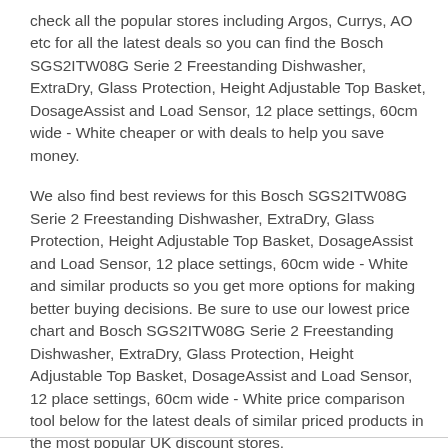check all the popular stores including Argos, Currys, AO etc for all the latest deals so you can find the Bosch SGS2ITW08G Serie 2 Freestanding Dishwasher, ExtraDry, Glass Protection, Height Adjustable Top Basket, DosageAssist and Load Sensor, 12 place settings, 60cm wide - White cheaper or with deals to help you save money.
We also find best reviews for this Bosch SGS2ITW08G Serie 2 Freestanding Dishwasher, ExtraDry, Glass Protection, Height Adjustable Top Basket, DosageAssist and Load Sensor, 12 place settings, 60cm wide - White and similar products so you get more options for making better buying decisions. Be sure to use our lowest price chart and Bosch SGS2ITW08G Serie 2 Freestanding Dishwasher, ExtraDry, Glass Protection, Height Adjustable Top Basket, DosageAssist and Load Sensor, 12 place settings, 60cm wide - White price comparison tool below for the latest deals of similar priced products in the most popular UK discount stores.